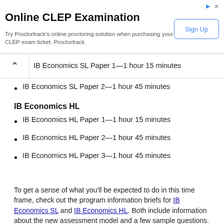[Figure (screenshot): Online CLEP Examination advertisement banner with Sign Up button]
IB Economics SL Paper 1—1 hour 15 minutes
IB Economics SL Paper 2—1 hour 45 minutes
IB Economics HL
IB Economics HL Paper 1—1 hour 15 minutes
IB Economics HL Paper 2—1 hour 45 minutes
IB Economics HL Paper 3—1 hour 45 minutes
To get a sense of what you'll be expected to do in this time frame, check out the program information briefs for IB Economics SL and IB Economics HL. Both include information about the new assessment model and a few sample questions. Here are the sample questions